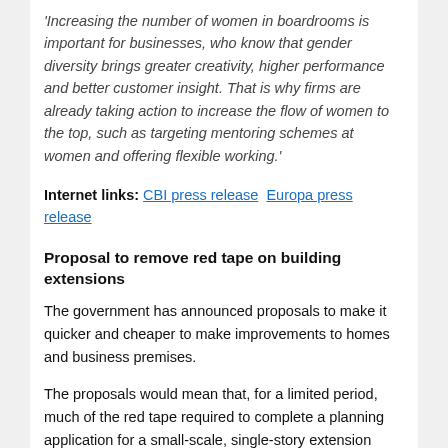'Increasing the number of women in boardrooms is important for businesses, who know that gender diversity brings greater creativity, higher performance and better customer insight. That is why firms are already taking action to increase the flow of women to the top, such as targeting mentoring schemes at women and offering flexible working.'
Internet links: CBI press release  Europa press release
Proposal to remove red tape on building extensions
The government has announced proposals to make it quicker and cheaper to make improvements to homes and business premises.
The proposals would mean that, for a limited period, much of the red tape required to complete a planning application for a small-scale, single-story extension would be removed. It has been confirmed that the current safeguards that ensure neighbours and communities are not adversely affected will remain in force. The proposals will also not apply to protected areas or listed buildings.